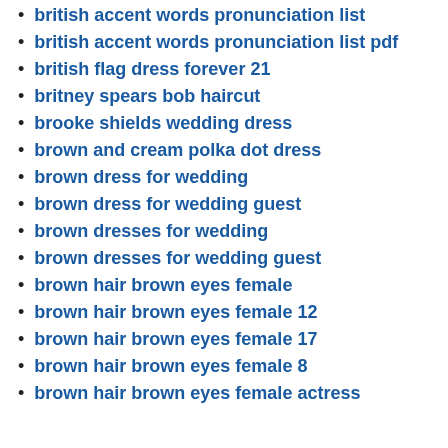british accent words pronunciation list
british accent words pronunciation list pdf
british flag dress forever 21
britney spears bob haircut
brooke shields wedding dress
brown and cream polka dot dress
brown dress for wedding
brown dress for wedding guest
brown dresses for wedding
brown dresses for wedding guest
brown hair brown eyes female
brown hair brown eyes female 12
brown hair brown eyes female 17
brown hair brown eyes female 8
brown hair brown eyes female actress